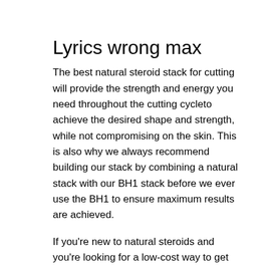Lyrics wrong max
The best natural steroid stack for cutting will provide the strength and energy you need throughout the cutting cycleto achieve the desired shape and strength, while not compromising on the skin. This is also why we always recommend building our stack by combining a natural stack with our BH1 stack before we ever use the BH1 to ensure maximum results are achieved.
If you're new to natural steroids and you're looking for a low-cost way to get started, it can be very difficult to find the right natural steroid stack. For this reason, we have listed the best natural steroid stacks in today's market below – these will get your testosterone levels moving quickly, female bodybuilding steroids side effects or similar.